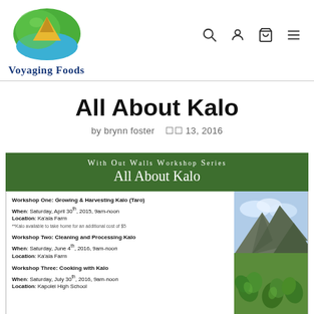[Figure (logo): Voyaging Foods logo: stylized taro leaf with mountain and water design in green, gold, and blue]
All About Kalo
by brynn foster   🗓 13, 2016
[Figure (infographic): With Out Walls Workshop Series - All About Kalo flyer with green header and workshop details below]
Workshop One: Growing & Harvesting Kalo (Taro)
When: Saturday, April 30th, 2015, 9am-noon
Location: Ka'ala Farm
**Kalo available to take home for an additional cost of $5

Workshop Two: Cleaning and Processing Kalo
When: Saturday, June 4th, 2016, 9am-noon
Location: Ka'ala Farm

Workshop Three: Cooking with Kalo
When: Saturday, July 30th, 2016, 9am-noon
Location: Kapolei High School